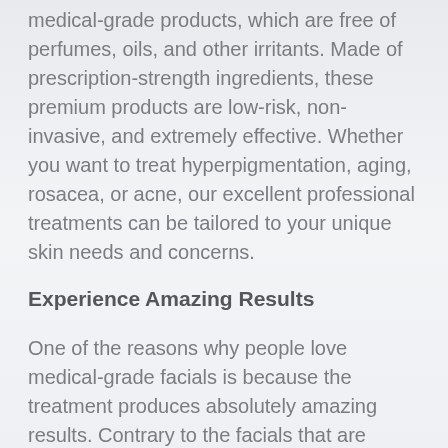medical-grade products, which are free of perfumes, oils, and other irritants. Made of prescription-strength ingredients, these premium products are low-risk, non-invasive, and extremely effective. Whether you want to treat hyperpigmentation, aging, rosacea, or acne, our excellent professional treatments can be tailored to your unique skin needs and concerns.
Experience Amazing Results
One of the reasons why people love medical-grade facials is because the treatment produces absolutely amazing results. Contrary to the facials that are offered in a spa, these professional treatments penetrate the skin at a much deeper level to rejuvenate its health. With the use of medical-grade products and tools, the treatment can improve the